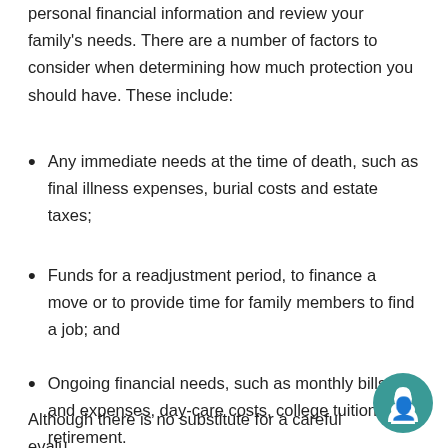personal financial information and review your family's needs. There are a number of factors to consider when determining how much protection you should have. These include:
Any immediate needs at the time of death, such as final illness expenses, burial costs and estate taxes;
Funds for a readjustment period, to finance a move or to provide time for family members to find a job; and
Ongoing financial needs, such as monthly bills and expenses, day-care costs, college tuition or retirement.
Although there is no substitute for a careful evaluation of the amount of coverage you should have...